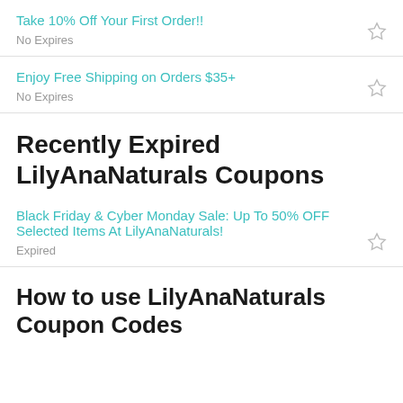Take 10% Off Your First Order!! No Expires
Enjoy Free Shipping on Orders $35+ No Expires
Recently Expired LilyAnaNaturals Coupons
Black Friday & Cyber Monday Sale: Up To 50% OFF Selected Items At LilyAnaNaturals! Expired
How to use LilyAnaNaturals Coupon Codes